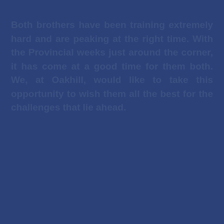Both brothers have been training extremely hard and are peaking at the right time. With the Provincial weeks just around the corner, it has come at a good time for them both. We, at Oakhill, would like to take this opportunity to wish them all the best for the challenges that lie ahead.